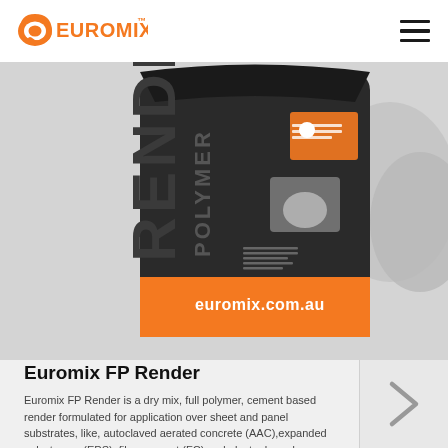Euromix™
[Figure (photo): Euromix FP Render product bag — dark/black packaging with orange branding, text 'RENDER POLYMER' visible on bag, 'euromix.com.au' on orange bottom panel, safety instructions on rear panel icon visible]
Euromix FP Render
Euromix FP Render is a dry mix, full polymer, cement based render formulated for application over sheet and panel substrates, like, autoclaved aerated concrete (AAC),expanded polystyrene (EPS), fibre cement (FC) and plaster based materials. Euromix FP Render is mixed with water only (no